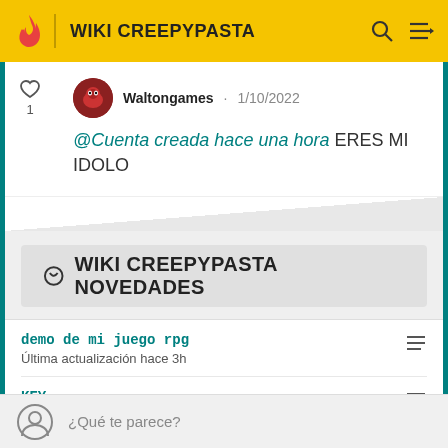WIKI CREEPYPASTA
Waltongames · 1/10/2022
@Cuenta creada hace una hora ERES MI IDOLO
WIKI CREEPYPASTA NOVEDADES
demo de mi juego rpg
Última actualización hace 3h
KEY
Última actualización hace 4h
¿Qué te parece?